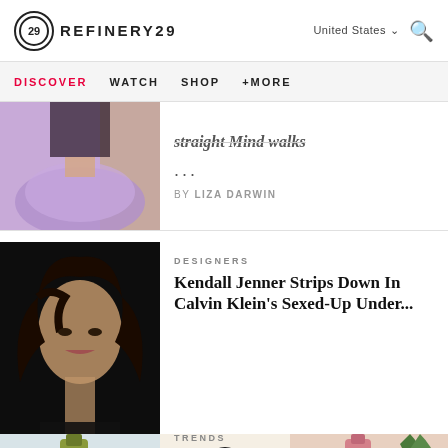REFINERY29
DISCOVER  WATCH  SHOP  +MORE
[Figure (photo): Partial view of woman in purple layered skirt and dark top, cropped at waist]
... by LIZA DARWIN
[Figure (photo): Black and white portrait of Kendall Jenner with flowing hair, text 'the original sexy']
DESIGNERS
Kendall Jenner Strips Down In Calvin Klein's Sexed-Up Under...
[Figure (photo): Wine bottle (white wine) with glass, on a light background]
[Figure (photo): Advertisement: THE CROSSING wine brand - Make It Amazing / Learn More, with rose wine bottle]
[Figure (photo): Bottom partial image, possibly food or natural scene]
TRENDS